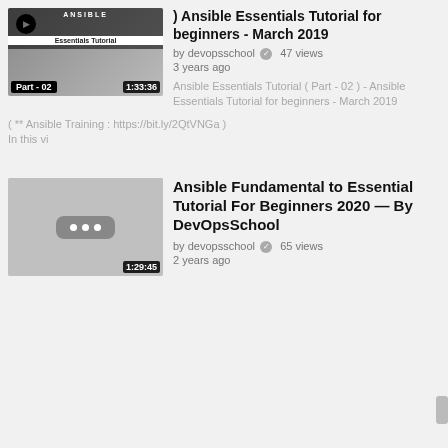[Figure (screenshot): Video thumbnail for Ansible Essentials Tutorial Part 02 with play button, logo, part label and duration 1:33:36]
) Ansible Essentials Tutorial for beginners - March 2019
by devopsschool  ✓  47 views
3 years ago
Ansible Essentials Tutorial ( Part - 02 ) - Ansible Essentials Tutorial for beginners - March 2019
( ** Ansible Training : https://bit.ly/2QtVNGa )
In this vi
[Figure (screenshot): Video thumbnail placeholder with three dots and duration 1:29:45]
Ansible Fundamental to Essential Tutorial For Beginners 2020 — By DevOpsSchool
by devopsschool  ✓  65 views
2 years ago